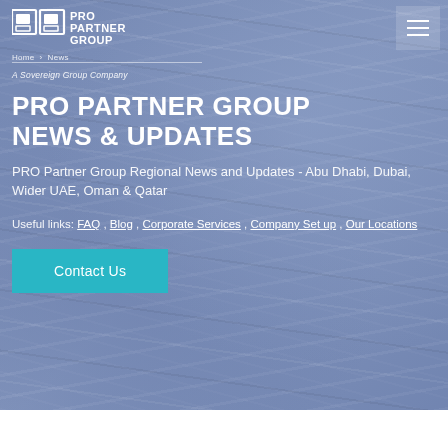[Figure (photo): Background photo of stacked newspapers with blue-purple overlay tint]
PRO PARTNER GROUP | Home > News
A Sovereign Group Company
PRO PARTNER GROUP NEWS & UPDATES
PRO Partner Group Regional News and Updates - Abu Dhabi, Dubai, Wider UAE, Oman & Qatar
Useful links: FAQ , Blog , Corporate Services , Company Set up , Our Locations
Contact Us